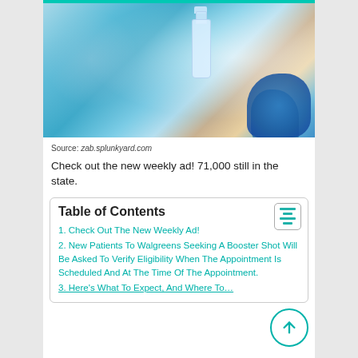[Figure (photo): Close-up photo of a gloved hand (blue latex glove) holding a clear glass vaccine/medicine vial, with a person wearing a blue face mask blurred in the background.]
Source: zab.splunkyard.com
Check out the new weekly ad! 71,000 still in the state.
Table of Contents
1. Check Out The New Weekly Ad!
2. New Patients To Walgreens Seeking A Booster Shot Will Be Asked To Verify Eligibility When The Appointment Is Scheduled And At The Time Of The Appointment.
3. Here's What To Expect, And Where To…